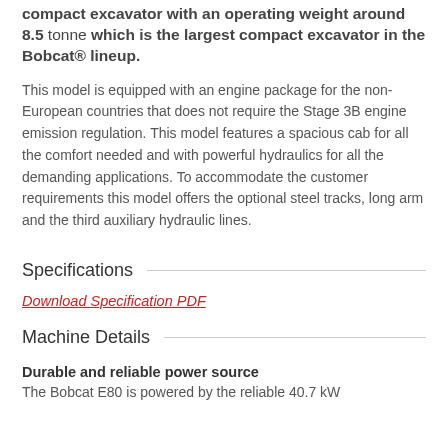The Bobcat E80 is a reduced tail swing design compact excavator with an operating weight around 8.5 tonne which is the largest compact excavator in the Bobcat® lineup.
This model is equipped with an engine package for the non-European countries that does not require the Stage 3B engine emission regulation. This model features a spacious cab for all the comfort needed and with powerful hydraulics for all the demanding applications. To accommodate the customer requirements this model offers the optional steel tracks, long arm and the third auxiliary hydraulic lines.
Specifications
Download Specification PDF
Machine Details
Durable and reliable power source
The Bobcat E80 is powered by the reliable 40.7 kW